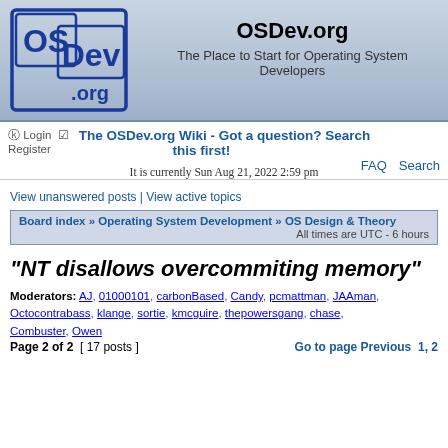[Figure (logo): OSDev.org logo with blue OS and Dev text in square boxes]
OSDev.org
The Place to Start for Operating System Developers
Login  Register  The OSDev.org Wiki - Got a question? Search this first!  FAQ  Search
It is currently Sun Aug 21, 2022 2:59 pm
View unanswered posts | View active topics
Board index » Operating System Development » OS Design & Theory  All times are UTC - 6 hours
"NT disallows overcommiting memory"
Moderators: AJ, 01000101, carbonBased, Candy, pcmattman, JAAman, Octocontrabass, klange, sortie, kmcguire, thepowersgang, chase, Combuster, Owen
Page 2 of 2  [ 17 posts ]  Go to page Previous  1, 2
| Author | Message |
| --- | --- |
| linguofreak | Post subject: Re: "NT disallows overcommiting memory"
Posted: Wed Dec 08, 2021 12:34 am |